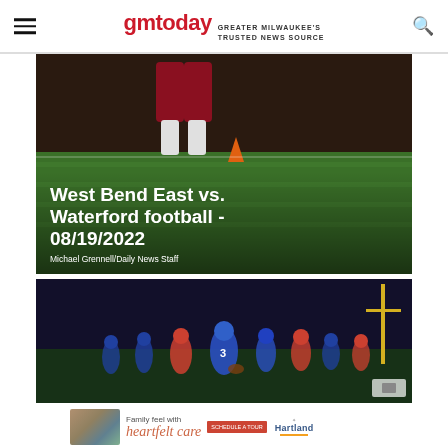gmtoday GREATER MILWAUKEE'S TRUSTED NEWS SOURCE
[Figure (photo): Football player in red uniform running on green field, with overlaid headline text]
West Bend East vs. Waterford football - 08/19/2022
Michael Grennell/Daily News Staff
[Figure (photo): Night football game scene with players in blue and white uniforms on field]
[Figure (photo): Advertisement: Family feel with heartfelt care - Hartland. Schedule A Tour button.]